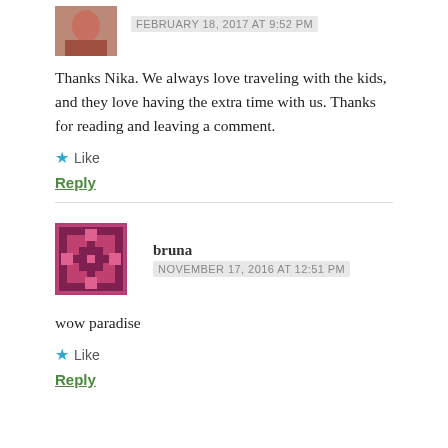[Figure (photo): Small avatar image of a person, top of page]
FEBRUARY 18, 2017 AT 9:52 PM
Thanks Nika. We always love traveling with the kids, and they love having the extra time with us. Thanks for reading and leaving a comment.
Like
Reply
[Figure (illustration): Bruna avatar - decorative geometric pattern in dark red/maroon]
bruna
NOVEMBER 17, 2016 AT 12:51 PM
wow paradise
Like
Reply